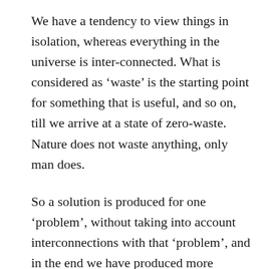We have a tendency to view things in isolation, whereas everything in the universe is inter-connected. What is considered as ‘waste’ is the starting point for something that is useful, and so on, till we arrive at a state of zero-waste. Nature does not waste anything, only man does.
So a solution is produced for one ‘problem’, without taking into account interconnections with that ‘problem’, and in the end we have produced more problems than solutions.
Shall be joining some dots to put some things